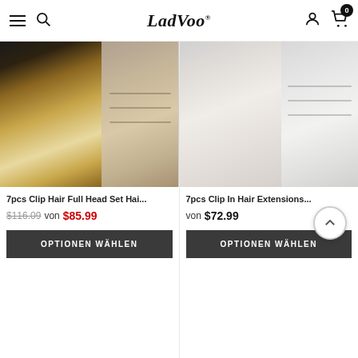LadVoo® — hamburger menu, search, user, cart (0)
[Figure (photo): Product photo of 7pcs Clip Hair Full Head Set — left panel shows model with long blonde wavy hair, right panel shows clip-in hair extensions piece in ash blonde color]
7pcs Clip Hair Full Head Set Hai...
$116.09  von  $85.99
OPTIONEN WÄHLEN
[Figure (photo): Product photo of 7pcs Clip In Hair Extensions — left panel shows model with long white/platinum wavy hair, right panel shows clip-in hair extensions piece in platinum/white color]
7pcs Clip In Hair Extensions...
von  $72.99
OPTIONEN WÄHLEN